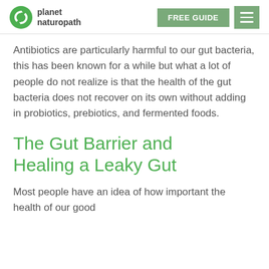planet naturopath | FREE GUIDE
Antibiotics are particularly harmful to our gut bacteria, this has been known for a while but what a lot of people do not realize is that the health of the gut bacteria does not recover on its own without adding in probiotics, prebiotics, and fermented foods.
The Gut Barrier and Healing a Leaky Gut
Most people have an idea of how important the health of our good